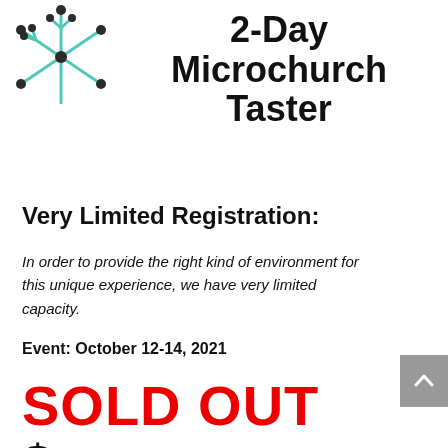[Figure (logo): Snowflake/network logo icon with teal lines and dark circles]
2-Day Microchurch Taster
Very Limited Registration:
In order to provide the right kind of environment for this unique experience, we have very limited capacity.
Event: October 12-14, 2021
SOLD OUT